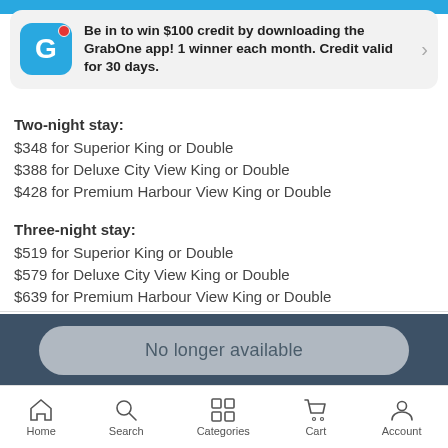Be in to win $100 credit by downloading the GrabOne app! 1 winner each month. Credit valid for 30 days.
Two-night stay:
$348 for Superior King or Double
$388 for Deluxe City View King or Double
$428 for Premium Harbour View King or Double
Three-night stay:
$519 for Superior King or Double
$579 for Deluxe City View King or Double
$639 for Premium Harbour View King or Double
No longer available
Home  Search  Categories  Cart  Account